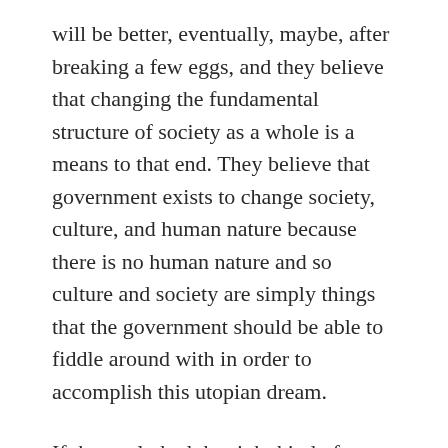will be better, eventually, maybe, after breaking a few eggs, and they believe that changing the fundamental structure of society as a whole is a means to that end. They believe that government exists to change society, culture, and human nature because there is no human nature and so culture and society are simply things that the government should be able to fiddle around with in order to accomplish this utopian dream.
If they only had the right kind of carrot and the right kind of stick, liberals believe they could turn that pack mule not only into a thoroughbred racehorse, but into a flying car.  Conservatives believe that mules will always be mules and so when constructing a flying car one needs to take the actual shape and size of the mule into account when designing it even when it makes the car look a little